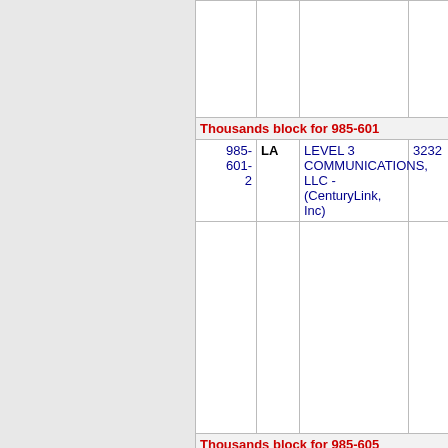| NPA-NXX | ST | Company | Code |
| --- | --- | --- | --- |
| Thousands block for 985-601 |  |  |  |
| 985-601-2 | LA | LEVEL 3 COMMUNICATIONS, LLC - (CenturyLink, Inc) | 3232 |
| Thousands block for 985-605 |  |  |  |
| 985-605-7 | LA | LEVEL 3 COMMUNICATIONS, LLC - (CenturyLink, Inc) | 3232 |